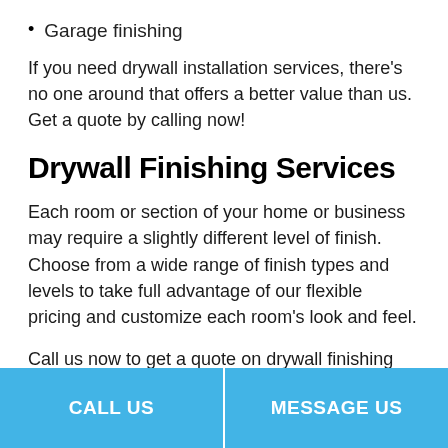Garage finishing
If you need drywall installation services, there's no one around that offers a better value than us. Get a quote by calling now!
Drywall Finishing Services
Each room or section of your home or business may require a slightly different level of finish. Choose from a wide range of finish types and levels to take full advantage of our flexible pricing and customize each room's look and feel.
Call us now to get a quote on drywall finishing services.
CALL US
MESSAGE US